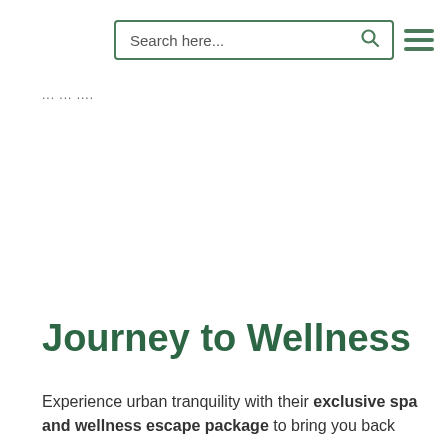Search here...
... ... ....
Journey to Wellness
Experience urban tranquility with their exclusive spa and wellness escape package to bring you back